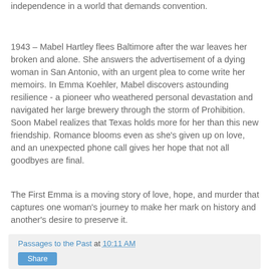independence in a world that demands convention.
1943 – Mabel Hartley flees Baltimore after the war leaves her broken and alone. She answers the advertisement of a dying woman in San Antonio, with an urgent plea to come write her memoirs. In Emma Koehler, Mabel discovers astounding resilience - a pioneer who weathered personal devastation and navigated her large brewery through the storm of Prohibition. Soon Mabel realizes that Texas holds more for her than this new friendship. Romance blooms even as she's given up on love, and an unexpected phone call gives her hope that not all goodbyes are final.
The First Emma is a moving story of love, hope, and murder that captures one woman's journey to make her mark on history and another's desire to preserve it.
Passages to the Past at 10:11 AM